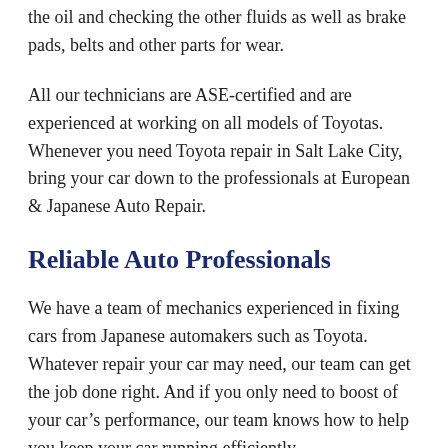the oil and checking the other fluids as well as brake pads, belts and other parts for wear.
All our technicians are ASE-certified and are experienced at working on all models of Toyotas. Whenever you need Toyota repair in Salt Lake City, bring your car down to the professionals at European & Japanese Auto Repair.
Reliable Auto Professionals
We have a team of mechanics experienced in fixing cars from Japanese automakers such as Toyota. Whatever repair your car may need, our team can get the job done right. And if you only need to boost of your car's performance, our team knows how to help you keep your car running efficiently.
[Figure (other): Scroll-to-top button: dark rounded rectangle with white upward chevron arrow icon]
Our auto professionals are ASE-certified technicians, too.